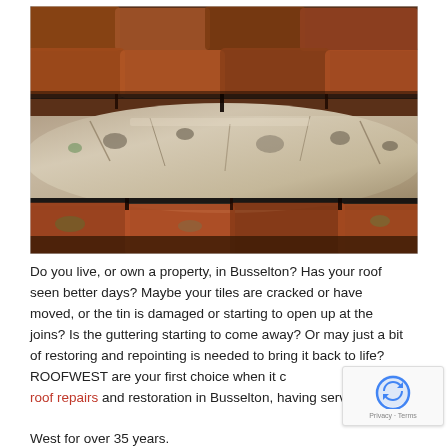[Figure (photo): Close-up photograph of aged, weathered terracotta/clay roof tiles showing cracks, moss, lichen, and displacement. The tiles are reddish-brown with grey and dark patches.]
Do you live, or own a property, in Busselton? Has your roof seen better days? Maybe your tiles are cracked or have moved, or the tin is damaged or starting to open up at the joins? Is the guttering starting to come away? Or may just a bit of restoring and repointing is needed to bring it back to life? ROOFWEST are your first choice when it comes to roof repairs and restoration in Busselton, having serviced the South West for over 35 years.